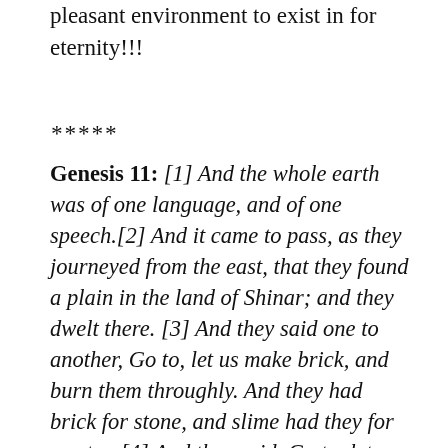pleasant environment to exist in for eternity!!!
*****
Genesis 11: [1] And the whole earth was of one language, and of one speech.[2] And it came to pass, as they journeyed from the east, that they found a plain in the land of Shinar; and they dwelt there. [3] And they said one to another, Go to, let us make brick, and burn them throughly. And they had brick for stone, and slime had they for morter. [4] And they said, Go to, let us build us a city and a tower, whose top may reach unto heaven; and let us make us a name, lest we be scattered abroad upon the face of the whole earth. [5] And the LORD